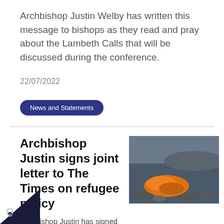Archbishop Justin Welby has written this message to bishops as they read and pray about the Lambeth Calls that will be discussed during the conference.
22/07/2022
News and Statements
Archbishop Justin signs joint letter to The Times on refugee policy
[Figure (photo): Orange life jacket or clothing on rocky shore with water in background]
Archbishop Justin has signed